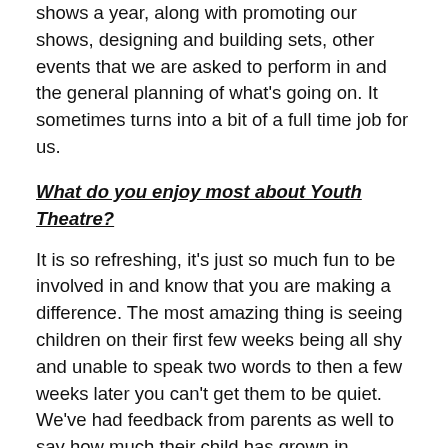shows a year, along with promoting our shows, designing and building sets, other events that we are asked to perform in and the general planning of what's going on. It sometimes turns into a bit of a full time job for us.
What do you enjoy most about Youth Theatre?
It is so refreshing, it's just so much fun to be involved in and know that you are making a difference. The most amazing thing is seeing children on their first few weeks being all shy and unable to speak two words to then a few weeks later you can't get them to be quiet. We've had feedback from parents as well to say how much their child has grown in confidence